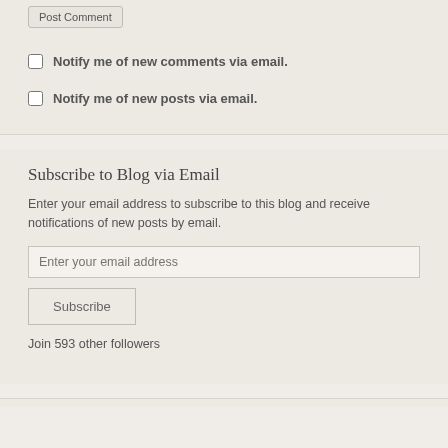Post Comment
Notify me of new comments via email.
Notify me of new posts via email.
Subscribe to Blog via Email
Enter your email address to subscribe to this blog and receive notifications of new posts by email.
Enter your email address
Subscribe
Join 593 other followers